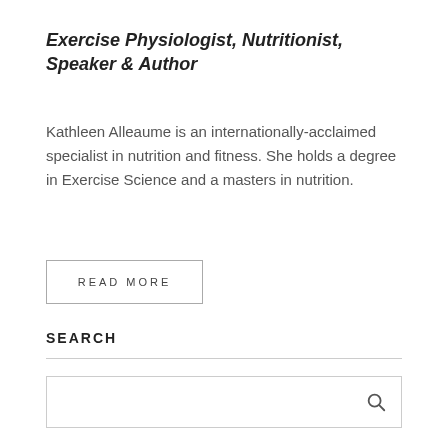Exercise Physiologist, Nutritionist, Speaker & Author
Kathleen Alleaume is an internationally-acclaimed specialist in nutrition and fitness. She holds a degree in Exercise Science and a masters in nutrition.
READ MORE
SEARCH